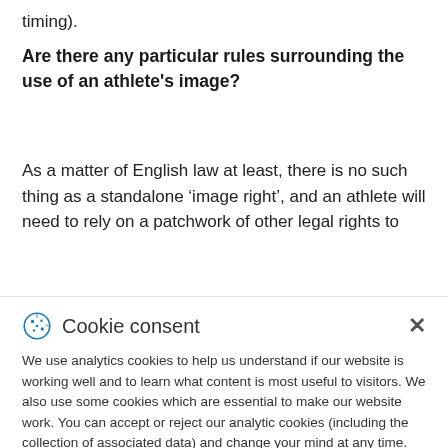timing).
Are there any particular rules surrounding the use of an athlete's image?
As a matter of English law at least, there is no such thing as a standalone ‘image right’, and an athlete will need to rely on a patchwork of other legal rights to
Cookie consent
We use analytics cookies to help us understand if our website is working well and to learn what content is most useful to visitors. We also use some cookies which are essential to make our website work. You can accept or reject our analytic cookies (including the collection of associated data) and change your mind at any time. Find out more in our Cookie Notice.